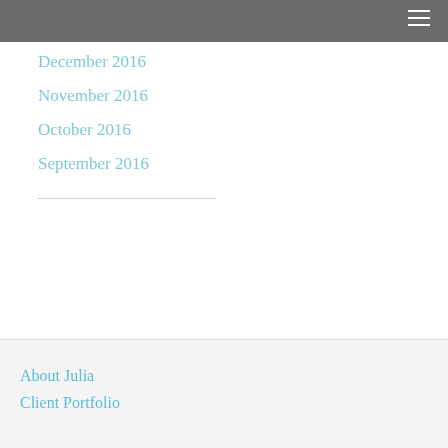December 2016
November 2016
October 2016
September 2016
About Julia
Client Portfolio